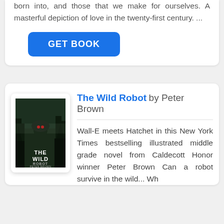born into, and those that we make for ourselves. A masterful depiction of love in the twenty-first century. ...
[Figure (other): Blue 'GET BOOK' button]
[Figure (illustration): Book cover of 'The Wild Robot' by Peter Brown showing a forest scene]
The Wild Robot by Peter Brown
Wall-E meets Hatchet in this New York Times bestselling illustrated middle grade novel from Caldecott Honor winner Peter Brown Can a robot survive in the wild... Wh...